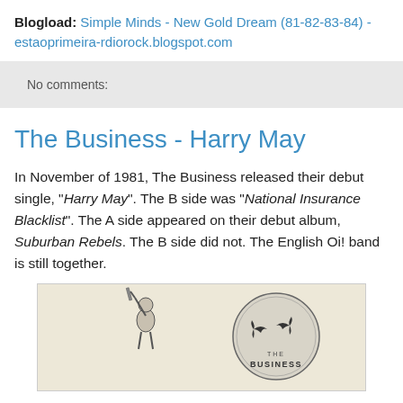Blogload: Simple Minds - New Gold Dream (81-82-83-84) - estaoprimeira-rdiorock.blogspot.com
No comments:
The Business - Harry May
In November of 1981, The Business released their debut single, "Harry May". The B side was "National Insurance Blacklist". The A side appeared on their debut album, Suburban Rebels. The B side did not. The English Oi! band is still together.
[Figure (photo): Vintage black and white record sleeve for The Business, showing a figure on the left and a circular logo with two swallows and the text THE BUSINESS on the right]